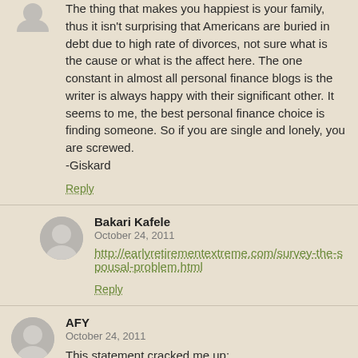The thing that makes you happiest is your family, thus it isn't surprising that Americans are buried in debt due to high rate of divorces, not sure what is the cause or what is the affect here. The one constant in almost all personal finance blogs is the writer is always happy with their significant other. It seems to me, the best personal finance choice is finding someone. So if you are single and lonely, you are screwed.
-Giskard
Reply
Bakari Kafele
October 24, 2011
http://earlyretirementextreme.com/survey-the-spousal-problem.html
Reply
AFY
October 24, 2011
This statement cracked me up:
"I happen to like driving around in a nice car. There's no